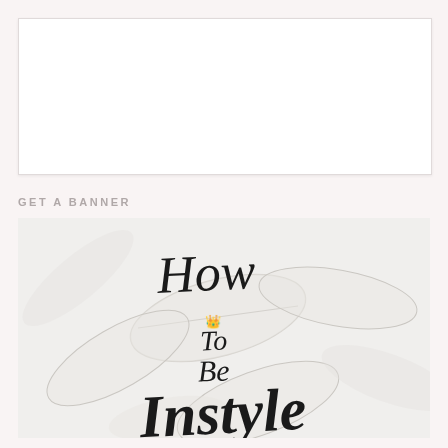[Figure (illustration): White rectangular box placeholder area at the top of the page]
GET A BANNER
[Figure (illustration): Banner image with tropical leaf background and handwritten text reading 'How to Be Instyle' with a gold crown icon]